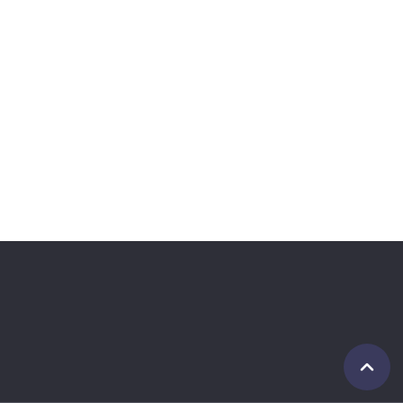UK Immigration Solicitors – Contact us to today to find out if we can help.